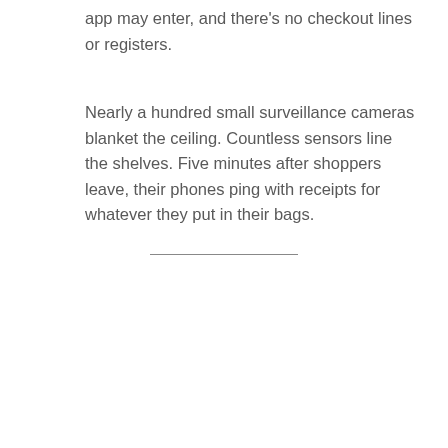app may enter, and there's no checkout lines or registers.
Nearly a hundred small surveillance cameras blanket the ceiling. Countless sensors line the shelves. Five minutes after shoppers leave, their phones ping with receipts for whatever they put in their bags.